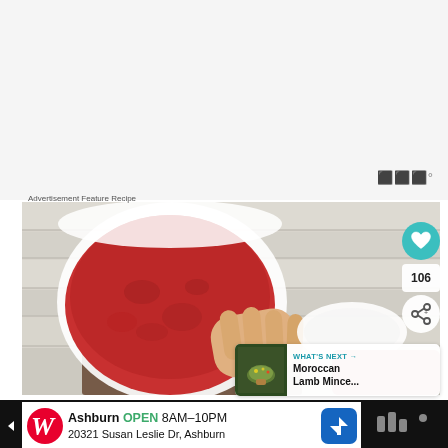[Figure (photo): White/light gray empty space at top of page, advertisement area]
Advertisement Feature Recipe
[Figure (photo): Food photograph showing a bowl of red tomato sauce/puree, a hand, a white plate, and raw meat on a wooden board background]
106
WHAT'S NEXT → Moroccan Lamb Mince...
Ashburn OPEN 8AM–10PM 20321 Susan Leslie Dr, Ashburn